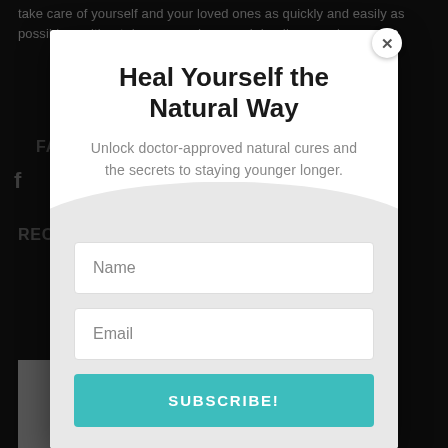take care of yourself and your loved ones as quickly and easily as possible – without dangerous drugs and deadly surgeries
[Figure (screenshot): Dark website background with partial navigation elements (Facebook icon, FAC label, REC label) visible behind modal overlay]
Heal Yourself the Natural Way
Unlock doctor-approved natural cures and the secrets to staying younger longer.
Name
Email
SUBSCRIBE!
Deal with Their Aches and Pains?